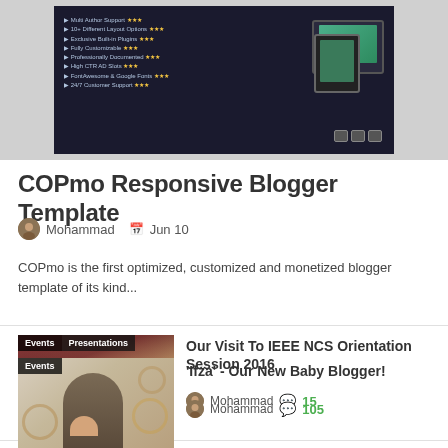[Figure (screenshot): Dark-themed blog template screenshot showing feature list with star ratings and device mockups (monitor, tablet)]
COPmo Responsive Blogger Template
Mohammad  Jun 10
COPmo is the first optimized, customized and monetized blogger template of its kind...
[Figure (photo): Thumbnail with Events and Presentations tags showing a crowd photo with a man in foreground]
Our Visit To IEEE NCS Orientation Session 2016
Mohammad  15
[Figure (photo): Thumbnail with Events tag showing a man holding a baby with decorative floral borders]
'Ifza' - Our New Baby Blogger!
Mohammad  105